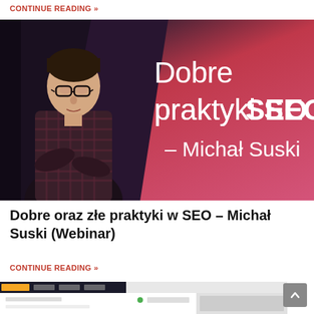CONTINUE READING »
[Figure (photo): Promotional banner image for a webinar titled 'Dobre praktyki SEO' by Michał Suski. Left side shows a young man with glasses and crossed arms standing in a dark setting; right side has a pink-to-dark-red gradient background with white text reading 'Dobre praktyki SEO – Michał Suski'.]
Dobre oraz złe praktyki w SEO – Michał Suski (Webinar)
CONTINUE READING »
[Figure (screenshot): Partial screenshot of a website page visible at the bottom of the document page.]